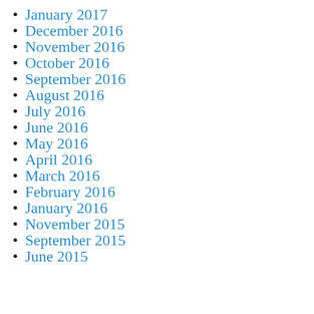January 2017
December 2016
November 2016
October 2016
September 2016
August 2016
July 2016
June 2016
May 2016
April 2016
March 2016
February 2016
January 2016
November 2015
September 2015
June 2015